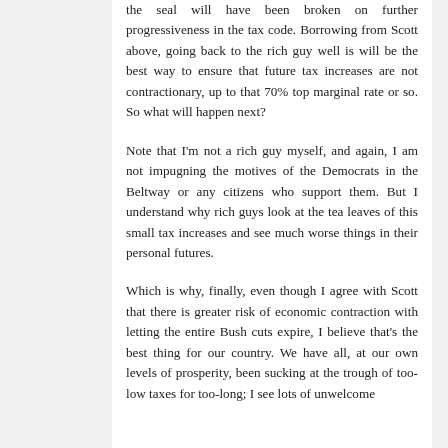the seal will have been broken on further progressiveness in the tax code. Borrowing from Scott above, going back to the rich guy well is will be the best way to ensure that future tax increases are not contractionary, up to that 70% top marginal rate or so. So what will happen next?
Note that I'm not a rich guy myself, and again, I am not impugning the motives of the Democrats in the Beltway or any citizens who support them. But I understand why rich guys look at the tea leaves of this small tax increases and see much worse things in their personal futures.
Which is why, finally, even though I agree with Scott that there is greater risk of economic contraction with letting the entire Bush cuts expire, I believe that's the best thing for our country. We have all, at our own levels of prosperity, been sucking at the trough of too-low taxes for too-long; I see lots of unwelcome